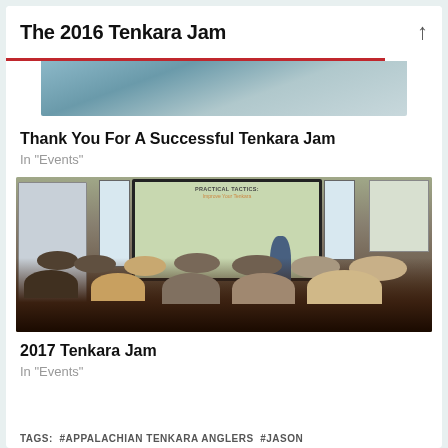The 2016 Tenkara Jam
[Figure (photo): Partial/cropped photo at top, appears to be an outdoor or event scene]
Thank You For A Successful Tenkara Jam
In "Events"
[Figure (photo): Indoor presentation/conference room photo showing a speaker at a projector screen reading 'PRACTICAL TACTICS: Improve Your Tenkara' with audience members seated]
2017 Tenkara Jam
In "Events"
TAGS:  #APPALACHIAN TENKARA ANGLERS  #JASON